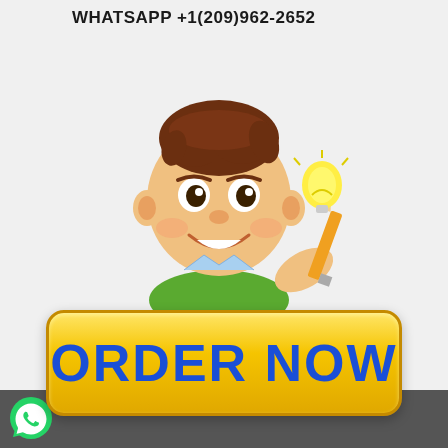WHATSAPP +1(209)962-2652
[Figure (illustration): Cartoon boy character holding a pencil with a lightbulb, peeking over a yellow ORDER NOW button]
[Figure (logo): WhatsApp green phone logo icon in bottom left footer bar]